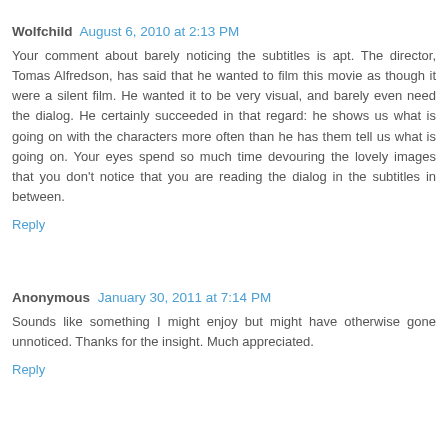Wolfchild  August 6, 2010 at 2:13 PM
Your comment about barely noticing the subtitles is apt. The director, Tomas Alfredson, has said that he wanted to film this movie as though it were a silent film. He wanted it to be very visual, and barely even need the dialog. He certainly succeeded in that regard: he shows us what is going on with the characters more often than he has them tell us what is going on. Your eyes spend so much time devouring the lovely images that you don't notice that you are reading the dialog in the subtitles in between.
Reply
Anonymous  January 30, 2011 at 7:14 PM
Sounds like something I might enjoy but might have otherwise gone unnoticed. Thanks for the insight. Much appreciated.
Reply